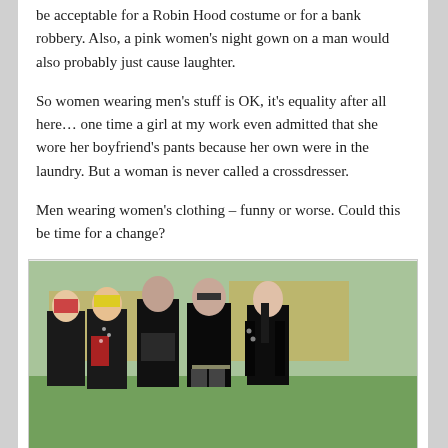be acceptable for a Robin Hood costume or for a bank robbery.  Also, a pink women's night gown on a man would also probably just cause laughter.
So women wearing men's stuff is OK, it's equality after all here…  one time a girl at my work even admitted that she wore her boyfriend's pants because her own were in the laundry.  But a woman is never called a crossdresser.
Men wearing women's clothing – funny or worse.  Could this be time for a change?
[Figure (photo): Group photo of several people in goth/punk style clothing, dark attire with accessories, standing outdoors on grass with a tent/structure in the background.]